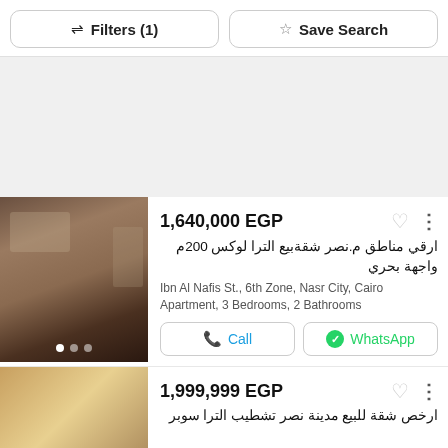Filters (1)
Save Search
[Figure (other): Gray advertisement banner area]
1,640,000 EGP
ارقي مناطق م.نصر شقةبيع الترا لوكس 200م واجهة بحري
Ibn Al Nafis St., 6th Zone, Nasr City, Cairo
Apartment, 3 Bedrooms, 2 Bathrooms
Call
WhatsApp
1,999,999 EGP
ارخص شقة للبيع مدينة نصر تشطيب الترا سوبر